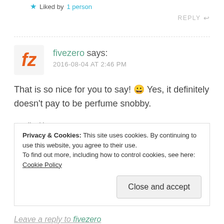Liked by 1 person
REPLY
fivezero says:
2016-08-04 AT 2:46 PM
That is so nice for you to say! 😀 Yes, it definitely doesn't pay to be perfume snobby.
Liked by 1 person
Privacy & Cookies: This site uses cookies. By continuing to use this website, you agree to their use.
To find out more, including how to control cookies, see here: Cookie Policy
Close and accept
Leave a reply to fivezero